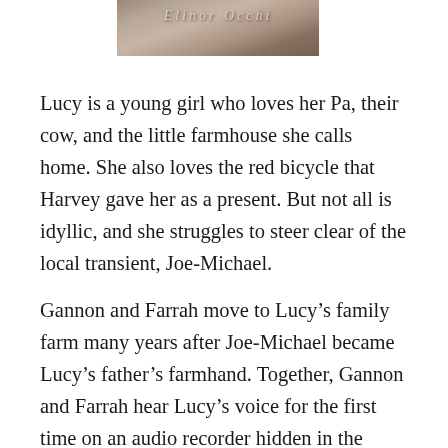[Figure (illustration): Top portion of a book cover showing partial author name text in stylized lettering over a textured, muted photographic background]
Lucy is a young girl who loves her Pa, their cow, and the little farmhouse she calls home. She also loves the red bicycle that Harvey gave her as a present. But not all is idyllic, and she struggles to steer clear of the local transient, Joe-Michael.
Gannon and Farrah move to Lucy's family farm many years after Joe-Michael became Lucy's father's farmhand. Together, Gannon and Farrah hear Lucy's voice for the first time on an audio recorder hidden in the woods near the old family homestead. Even though their lives are separated by decades, they intersect at the pond where the secrets have been submerged by Joe-Michael.
Blurring the lines between time and space,